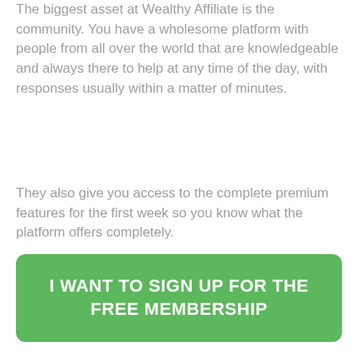The biggest asset at Wealthy Affiliate is the community. You have a wholesome platform with people from all over the world that are knowledgeable and always there to help at any time of the day, with responses usually within a matter of minutes.
They also give you access to the complete premium features for the first week so you know what the platform offers completely.
To try it out, just follow think below to create your free affiliate account today.
[Figure (other): Green call-to-action button with white bold text: I WANT TO SIGN UP FOR THE FREE MEMBERSHIP]